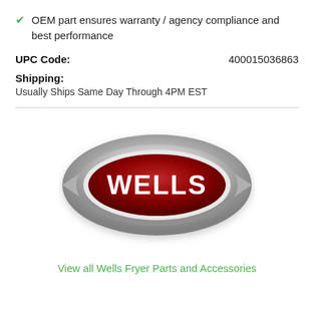OEM part ensures warranty / agency compliance and best performance
UPC Code: 400015036863
Shipping:
Usually Ships Same Day Through 4PM EST
[Figure (logo): Wells brand logo: silver eye-shaped metallic emblem with a dark red oval center bearing the text WELLS in white bold letters]
View all Wells Fryer Parts and Accessories